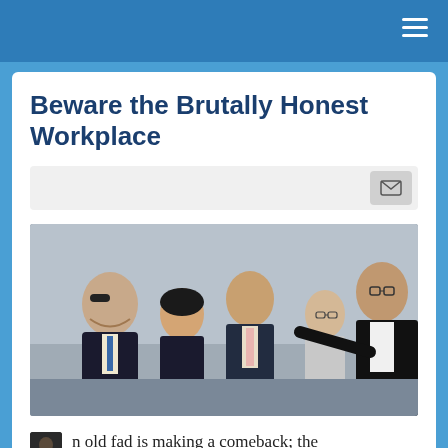Beware the Brutally Honest Workplace
[Figure (screenshot): Email subscription bar with envelope icon button]
[Figure (photo): Group of business people in suits arguing or confronting each other, pointing fingers, in an office setting]
n old fad is making a comeback; the